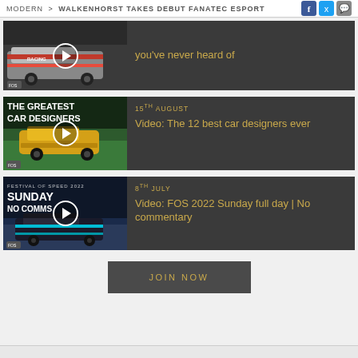MODERN > WALKENHORST TAKES DEBUT FANATEC ESPORT
[Figure (screenshot): Video thumbnail with racing cars and play button, partially visible title text about something you've never heard of]
you've never heard of
[Figure (screenshot): Video thumbnail with yellow Lamborghini and text 'THE GREATEST CAR DESIGNERS' with play button]
15th AUGUST
Video: The 12 best car designers ever
[Figure (screenshot): Video thumbnail with race car and text 'FESTIVAL OF SPEED 2022 SUNDAY NO COMMS' with play button]
8th JULY
Video: FOS 2022 Sunday full day | No commentary
JOIN NOW